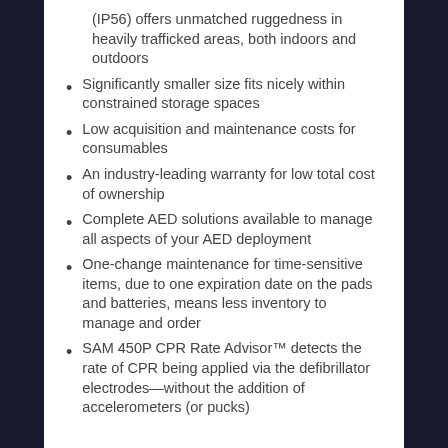(IP56) offers unmatched ruggedness in heavily trafficked areas, both indoors and outdoors
Significantly smaller size fits nicely within constrained storage spaces
Low acquisition and maintenance costs for consumables
An industry-leading warranty for low total cost of ownership
Complete AED solutions available to manage all aspects of your AED deployment
One-change maintenance for time-sensitive items, due to one expiration date on the pads and batteries, means less inventory to manage and order
SAM 450P CPR Rate Advisor™ detects the rate of CPR being applied via the defibrillator electrodes—without the addition of accelerometers (or pucks)